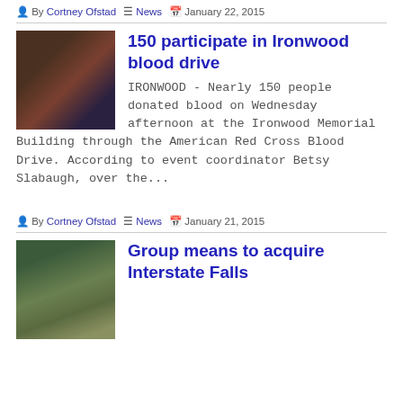By Cortney Ofstad  News  January 22, 2015
150 participate in Ironwood blood drive
IRONWOOD - Nearly 150 people donated blood on Wednesday afternoon at the Ironwood Memorial Building through the American Red Cross Blood Drive. According to event coordinator Betsy Slabaugh, over the...
By Cortney Ofstad  News  January 21, 2015
Group means to acquire Interstate Falls